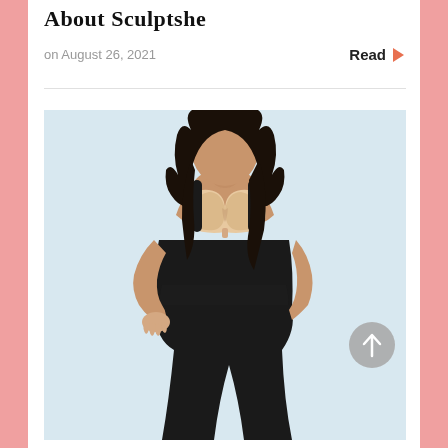About Sculptshe
on August 26, 2021
Read
[Figure (photo): A woman wearing black shapewear bodysuit with a nude/beige open-bust bra insert, posed with hand on hip against a light blue background]